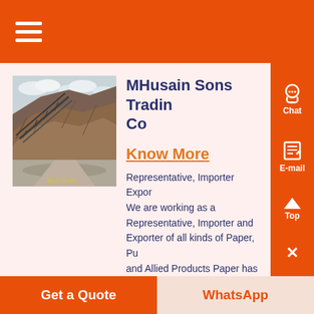MHusain Sons Trading Co
Know More
Representative, Importer Exporter. We are working as a Representative, Importer and Exporter of all kinds of Paper, Pu and Allied Products Paper has be
[Figure (photo): Outdoor photo of a quarry or mining site with large rock face and industrial conveyor/structure]
Get a Quote
WhatsApp